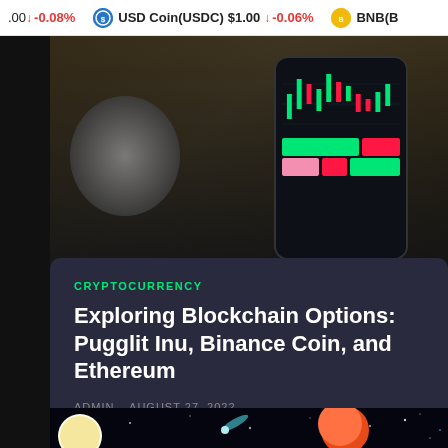.00 ↓ -0.08%    USD Coin(USDC) $1.00 ↓ -0.06%    BNB(B
[Figure (photo): Person wearing a watch next to a smartphone displaying a cryptocurrency candlestick chart on a dark background]
CRYPTOCURRENCY
Exploring Blockchain Options: Pugglit Inu, Binance Coin, and Ethereum
ADMIN - AUGUST 27, 2022
[Figure (photo): Space-themed image showing a moon, comet, orange planet against a dark starry background]